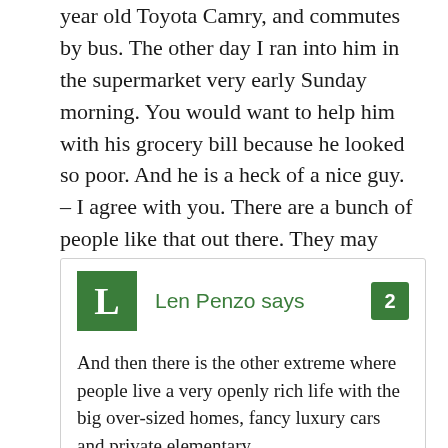year old Toyota Camry, and commutes by bus. The other day I ran into him in the supermarket very early Sunday morning. You would want to help him with his grocery bill because he looked so poor. And he is a heck of a nice guy. – I agree with you. There are a bunch of people like that out there. They may really live right next door and you won't even know it.
Len Penzo says

And then there is the other extreme where people live a very openly rich life with the big over-sized homes, fancy luxury cars and private elementary